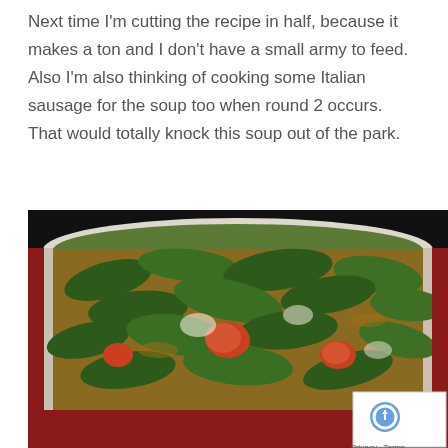Next time I'm cutting the recipe in half, because it makes a ton and I don't have a small army to feed. Also I'm also thinking of cooking some Italian sausage for the soup too when round 2 occurs. That would totally knock this soup out of the park.
[Figure (photo): A close-up photo of a white pot on a stove containing a vegetable soup with fresh spinach leaves, diced tomatoes, and onions in a broth.]